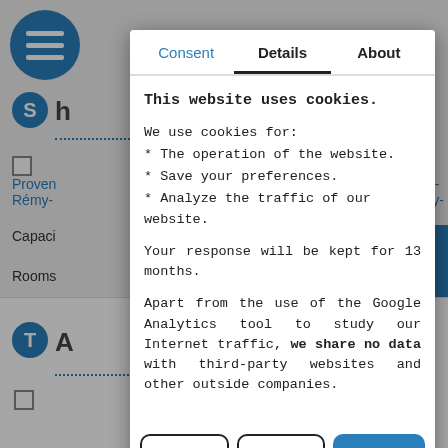[Figure (screenshot): Background webpage with navigation icons, dotted lines, checkboxes, and partial text content partially obscured by a cookie consent modal overlay]
Consent  Details  About
This website uses cookies.
We use cookies for:
* The operation of the website.
* Save your preferences.
* Analyze the traffic of our website.
Your response will be kept for 13 months.
Apart from the use of the Google Analytics tool to study our Internet traffic, we share no data with third-party websites and other outside companies.
Decline  Allow selection  Allow everything